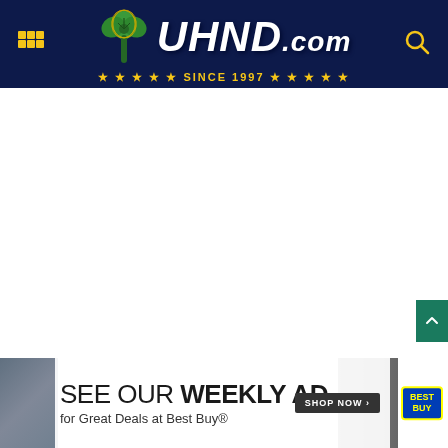UHND.COM — Since 1997
[Figure (screenshot): White content area — main page content region, appears blank/loading]
[Figure (infographic): Best Buy advertisement banner: 'SEE OUR WEEKLY AD for Great Deals at Best Buy® SHOP NOW' with Best Buy logo, overlaid on a crowd photograph background]